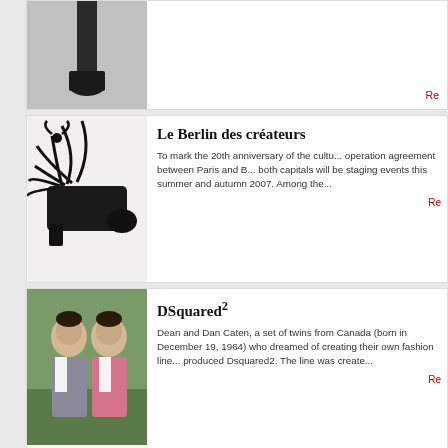[Figure (photo): Partial card at top showing a dark shoe or boot on grey background]
Re...
Le Berlin des créateurs
To mark the 20th anniversary of the cultural co-operation agreement between Paris and B... both capitals will be staging events this summer and autumn 2007. Among the...
Re...
[Figure (photo): Black strappy wrap shoe/sandal on white background]
DSquared²
Dean and Dan Caten, a set of twins from Canada (born in December 19, 1964) who dreamed of creating their own fashion line... produced Dsquared2. The line was create...
Re...
[Figure (photo): Two men (Dean and Dan Caten) in suits - one grey, one pink - posing together outdoors]
Liya Kebede
Born (1978) and raised in Addis Ababa, Ethiopia, Liya Kebede graduated from the French Lycée in Addis. Liya subsequently moved to Paris to pursue her modelling...
[Figure (photo): Close-up of a woman's face with dramatic makeup, dark eye shadow]